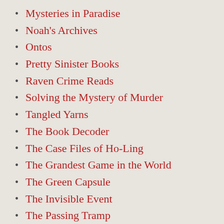Mysteries in Paradise
Noah's Archives
Ontos
Pretty Sinister Books
Raven Crime Reads
Solving the Mystery of Murder
Tangled Yarns
The Book Decoder
The Case Files of Ho-Ling
The Grandest Game in the World
The Green Capsule
The Invisible Event
The Passing Tramp
Tipping My Fedora
Vintage Pop Fictions